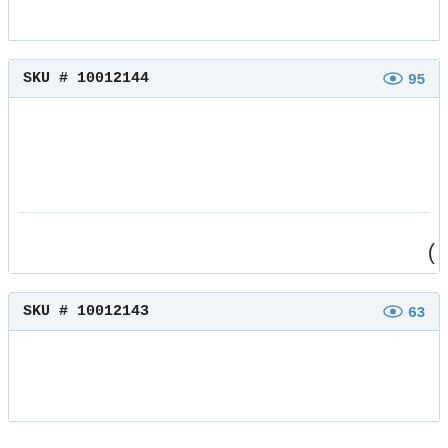SKU # 10012144  👁 95
SKU # 10012143  👁 63